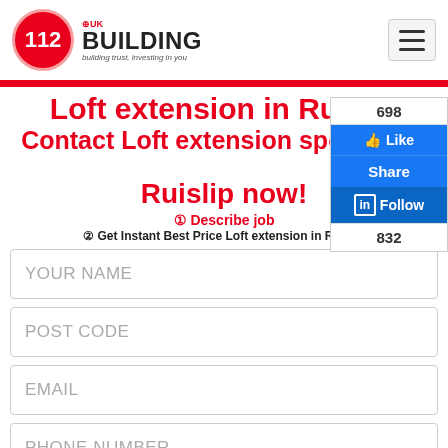[Figure (logo): 112 UK Building logo - red circle with 112 text and BUILDING wordmark with tagline 'building trust, investing in you']
Loft extension in Ruislip
Contact Loft extension specialists in Ruislip now!
① Describe job
② Get Instant Best Price Loft extension in Ruislip
YOUR NAME
POST CODE
EMAIL
PHONE NUMBER